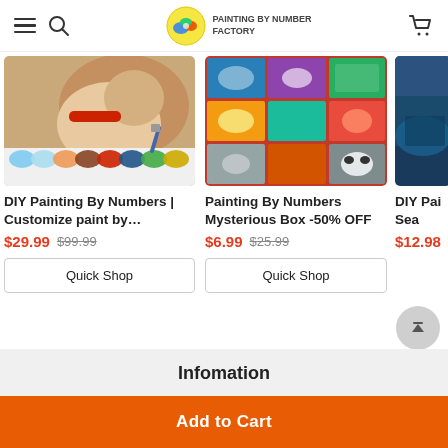PAINTING BY NUMBER FACTORY
[Figure (photo): Product image of DIY painting by numbers kit showing dog painting with paint pots and brush]
DIY Painting By Numbers | Customize paint by…
$29.99  $99.99
Quick Shop
[Figure (photo): Product image of Painting By Numbers Mysterious Box showing collage of various painting subjects on red background]
Painting By Numbers Mysterious Box -50% OFF
$6.99  $25.99
Quick Shop
[Figure (photo): Partial product image of DIY Painting by Numbers sea/waterfall scene]
DIY Pai Sea
$12.98
Infomation
Add to Cart